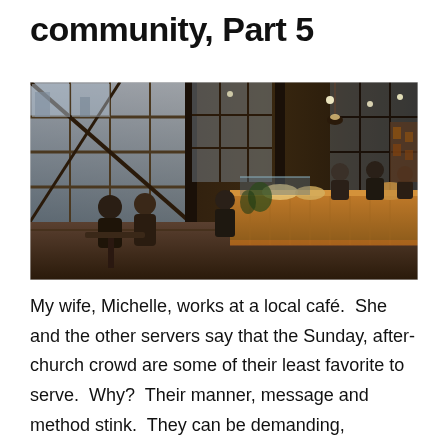community, Part 5
[Figure (photo): Interior of a busy upscale café/coffee shop with large industrial-style windows, wooden bar counter with pastries, customers seated at tables, baristas working behind the counter, warm lighting, dark steel structural elements.]
My wife, Michelle, works at a local café.  She and the other servers say that the Sunday, after-church crowd are some of their least favorite to serve.  Why?  Their manner, message and method stink.  They can be demanding,